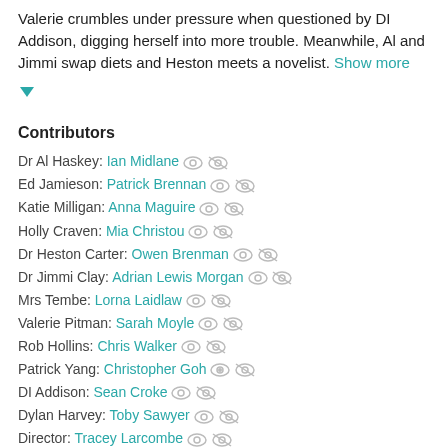Valerie crumbles under pressure when questioned by DI Addison, digging herself into more trouble. Meanwhile, Al and Jimmi swap diets and Heston meets a novelist. Show more ▼
Contributors
Dr Al Haskey: Ian Midlane
Ed Jamieson: Patrick Brennan
Katie Milligan: Anna Maguire
Holly Craven: Mia Christou
Dr Heston Carter: Owen Brenman
Dr Jimmi Clay: Adrian Lewis Morgan
Mrs Tembe: Lorna Laidlaw
Valerie Pitman: Sarah Moyle
Rob Hollins: Chris Walker
Patrick Yang: Christopher Goh
DI Addison: Sean Croke
Dylan Harvey: Toby Sawyer
Director: Tracey Larcombe